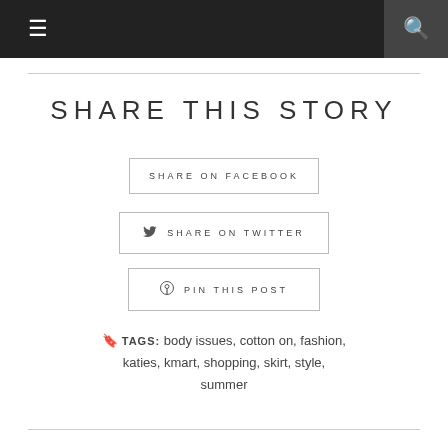≡  🔍
SHARE THIS STORY
SHARE ON FACEBOOK
SHARE ON TWITTER
PIN THIS POST
TAGS: body issues, cotton on, fashion, katies, kmart, shopping, skirt, style, summer